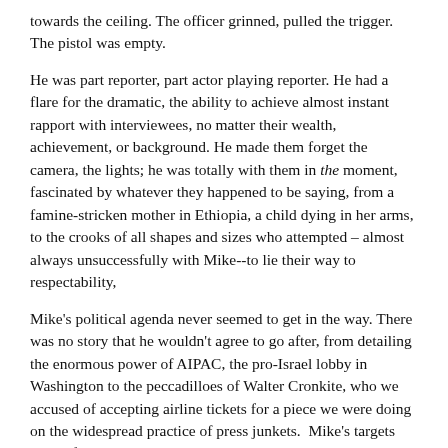towards the ceiling. The officer grinned, pulled the trigger. The pistol was empty.
He was part reporter, part actor playing reporter. He had a flare for the dramatic, the ability to achieve almost instant rapport with interviewees, no matter their wealth, achievement, or background. He made them forget the camera, the lights; he was totally with them in the moment, fascinated by whatever they happened to be saying, from a famine-stricken mother in Ethiopia, a child dying in her arms, to the crooks of all shapes and sizes who attempted – almost always unsuccessfully with Mike--to lie their way to respectability,
Mike's political agenda never seemed to get in the way. There was no story that he wouldn't agree to go after, from detailing the enormous power of AIPAC, the pro-Israel lobby in Washington to the peccadilloes of Walter Cronkite, who we accused of accepting airline tickets for a piece we were doing on the widespread practice of press junkets.  Mike's targets were often livid, but their rage only heightened Mike's pleasure. He loved controversy, being the center of a story, seeing the sparks fly.
Though he greatly admired the Shah of Iran, was charmed by his